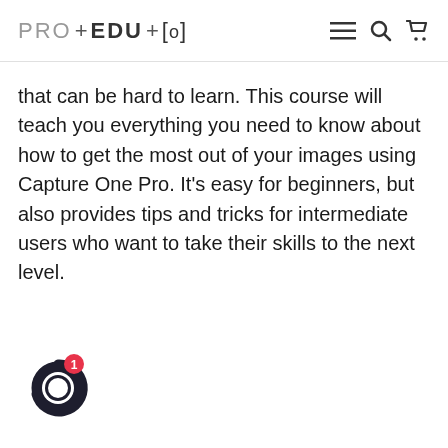PRO EDU [o]
that can be hard to learn. This course will teach you everything you need to know about how to get the most out of your images using Capture One Pro. It's easy for beginners, but also provides tips and tricks for intermediate users who want to take their skills to the next level.
[Figure (logo): Chat widget icon — dark circular ring with red notification badge showing '1']